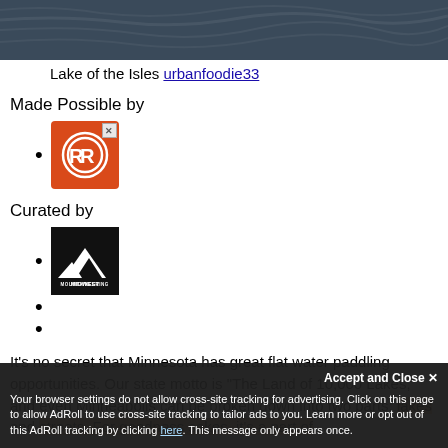[Figure (photo): Dark blue-grey water surface texture, waves visible, top portion of a lake photo]
Lake of the Isles urbanfoodie33
Made Possible by
[Figure (logo): Red square advertisement logo with two overlapping R letters in a circle (RR logo), with a close X button]
Curated by
[Figure (logo): Black square logo with white mountain silhouette and text MIDWEST MOUNTAINEERING]
It's no secret that Minnesota has great flat water paddling opportunities. Our state motto is “The Land of 10,000 Lakes,” and even Minneapolis can be broken down into two parts: lakes and streets. For goodness sakes, it’s a part of
Your browser settings do not allow cross-site tracking for advertising. Click on this page to allow AdRoll to use cross-site tracking to tailor ads to you. Learn more or opt out of this AdRoll tracking by clicking here. This message only appears once.